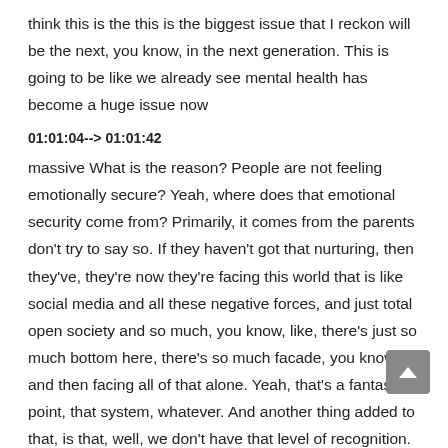think this is the this is the biggest issue that I reckon will be the next, you know, in the next generation. This is going to be like we already see mental health has become a huge issue now
01:01:04--> 01:01:42
massive What is the reason? People are not feeling emotionally secure? Yeah, where does that emotional security come from? Primarily, it comes from the parents don't try to say so. If they haven't got that nurturing, then they've, they're now they're facing this world that is like social media and all these negative forces, and just total open society and so much, you know, like, there's just so much bottom here, there's so much facade, you know, and then facing all of that alone. Yeah, that's a fantastic point, that system, whatever. And another thing added to that, is that, well, we don't have that level of recognition. So we want to raise them to be these wonderful